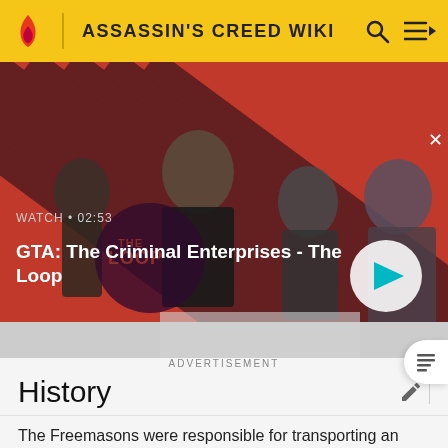ASSASSIN'S CREED WIKI
[Figure (screenshot): Video thumbnail for GTA: The Criminal Enterprises - The Loop. Shows four characters on a diagonal red and dark striped background. Text overlay shows WATCH • 02:53 and a circular play button on the right.]
GTA: The Criminal Enterprises - The Loop
ADVERTISEMENT
History
The Freemasons were responsible for transporting an